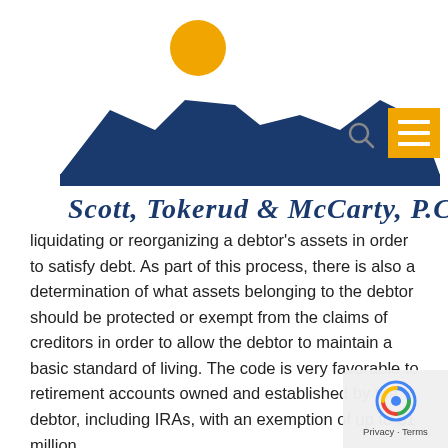[Figure (logo): Scott, Tokerud & McCarty, P.C. law firm logo with mesa/butte silhouette in navy blue and an orange sun above it, with firm name in cursive script below]
liquidating or reorganizing a debtor's assets in order to satisfy debt. As part of this process, there is also a determination of what assets belonging to the debtor should be protected or exempt from the claims of creditors in order to allow the debtor to maintain a basic standard of living. The code is very favorable to retirement accounts owned and established by the debtor, including IRAs, with an exemption of up to $1 million.
The Supreme Court held in Clark that an IRA inherited by someone other than a surviving spouse, such as the original IRA owner's child, who